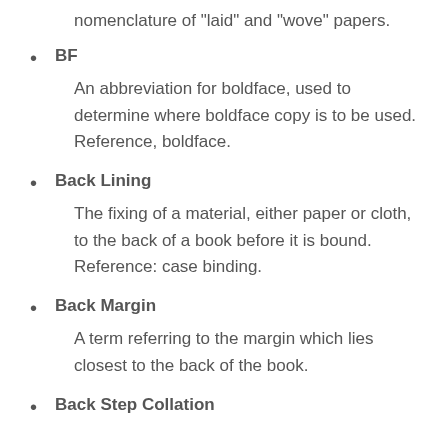nomenclature of "laid" and "wove" papers.
BF
An abbreviation for boldface, used to determine where boldface copy is to be used. Reference, boldface.
Back Lining
The fixing of a material, either paper or cloth, to the back of a book before it is bound. Reference: case binding.
Back Margin
A term referring to the margin which lies closest to the back of the book.
Back Step Collation